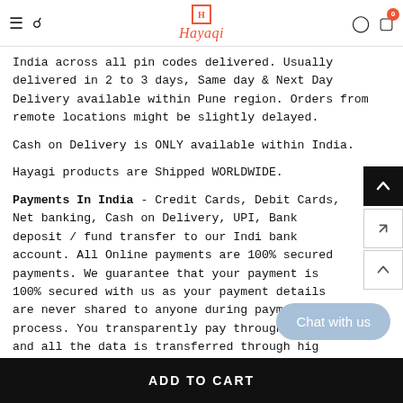Hayaqi
India across all pin codes delivered. Usually delivered in 2 to 3 days, Same day & Next Day Delivery available within Pune region. Orders from remote locations might be slightly delayed.
Cash on Delivery is ONLY available within India.
Hayagi products are Shipped WORLDWIDE.
Payments In India - Credit Cards, Debit Cards, Net banking, Cash on Delivery, UPI, Bank deposit / fund transfer to our Indian bank account. All Online payments are 100% secured payments. We guarantee that your payment is 100% secured with us as your payment details are never shared to anyone during payment process. You transparently pay through our ... and all the data is transferred through hig...